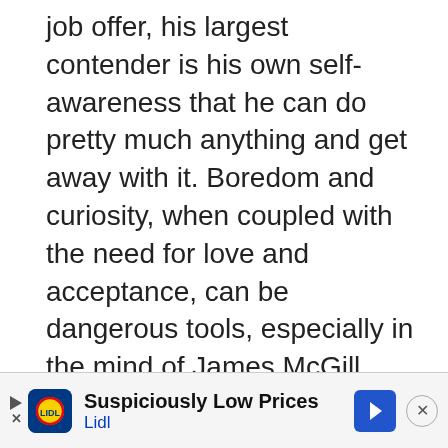job offer, his largest contender is his own self-awareness that he can do pretty much anything and get away with it. Boredom and curiosity, when coupled with the need for love and acceptance, can be dangerous tools, especially in the mind of James McGill Esquire (or Jimmy, or Saul, or Gene – whomever he chooses to be as soon as the previous Not Really Him dies off).
[Figure (infographic): Advertisement banner for Lidl featuring the Lidl logo, text 'Suspiciously Low Prices' and 'Lidl', a blue navigation arrow icon, play and close controls.]